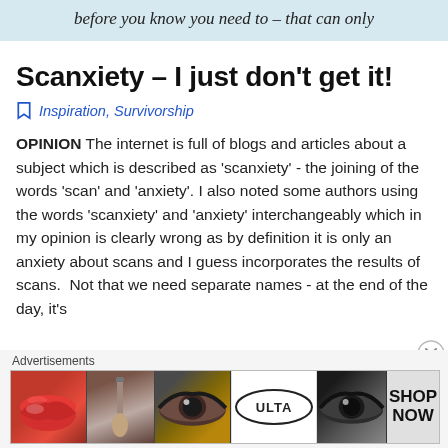before you know you need to – that can only
Scanxiety – I just don't get it!
Inspiration, Survivorship
OPINION The internet is full of blogs and articles about a subject which is described as 'scanxiety' - the joining of the words 'scan' and 'anxiety'. I also noted some authors using the words 'scanxiety' and 'anxiety' interchangeably which in my opinion is clearly wrong as by definition it is only an anxiety about scans and I guess incorporates the results of scans.  Not that we need separate names - at the end of the day, it's
Advertisements